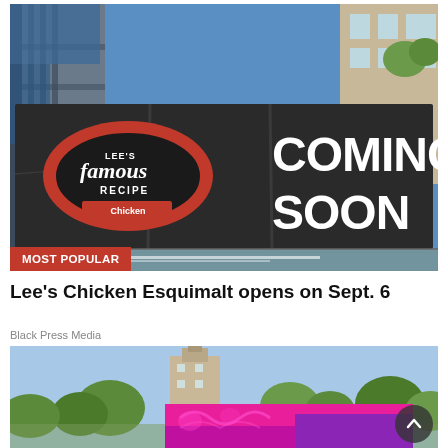[Figure (photo): Construction site photo showing a large dark banner with Lee's Famous Recipe Chicken logo on the left and 'COMING SOON' text on the right, with scaffolding and chain-link fence visible]
MOST POPULAR
Lee's Chicken Esquimalt opens on Sept. 6
Black Press Media
[Figure (photo): Two overlapping images: a building with a tower against a blue sky with trees, and a pink/purple decorative advertisement banner at the bottom]